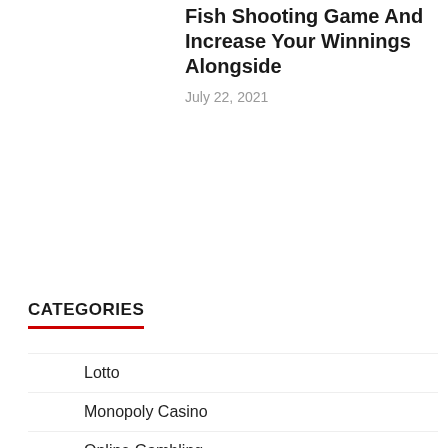Fish Shooting Game And Increase Your Winnings Alongside
July 22, 2021
CATEGORIES
Lotto
Monopoly Casino
Online Gambling